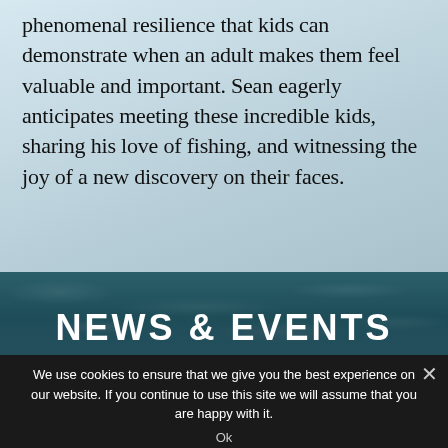phenomenal resilience that kids can demonstrate when an adult makes them feel valuable and important. Sean eagerly anticipates meeting these incredible kids, sharing his love of fishing, and witnessing the joy of a new discovery on their faces.
NEWS & EVENTS
We use cookies to ensure that we give you the best experience on our website. If you continue to use this site we will assume that you are happy with it.
Ok